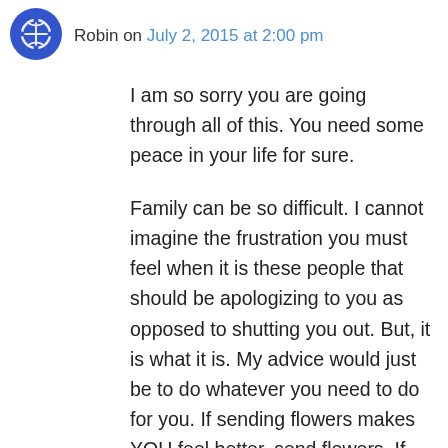[Figure (illustration): Blue avatar icon with globe/puzzle-piece pattern]
Robin on July 2, 2015 at 2:00 pm
I am so sorry you are going through all of this. You need some peace in your life for sure.
Family can be so difficult. I cannot imagine the frustration you must feel when it is these people that should be apologizing to you as opposed to shutting you out. But, it is what it is. My advice would just be to do whatever you need to do for you. If sending flowers makes YOU feel better, send flowers. If kicking back with a glass of wine makes YOU feel better while reading a book and allowing this stuff to go on in the background, then do that.
I know BN is gone for right now, but you can do this without him! Get in touch with what YOU